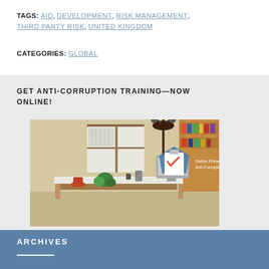TAGS: AID, DEVELOPMENT, RISK MANAGEMENT, THIRD PARTY RISK, UNITED KINGDOM
CATEGORIES: GLOBAL
GET ANTI-CORRUPTION TRAINING—NOW ONLINE!
[Figure (illustration): Online Primer: The Business Case for Anti-Corruption Compliance — illustrated office scene with desk, bookshelf, lamp, clipboard icon with checkmark]
ARCHIVES